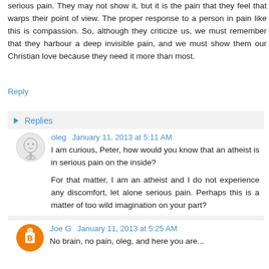serious pain. They may not show it, but it is the pain that they feel that warps their point of view. The proper response to a person in pain like this is compassion. So, although they criticize us, we must remember that they harbour a deep invisible pain, and we must show them our Christian love because they need it more than most.
Reply
▸ Replies
oleg  January 11, 2013 at 5:11 AM
I am curious, Peter, how would you know that an atheist is in serious pain on the inside?

For that matter, I am an atheist and I do not experience any discomfort, let alone serious pain. Perhaps this is a matter of too wild imagination on your part?
Joe G  January 11, 2013 at 5:25 AM
No brain, no pain, oleg, and here you are...